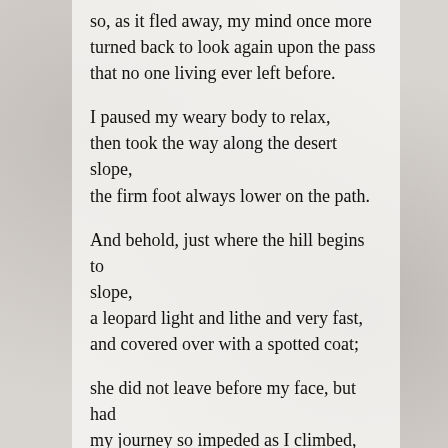so, as it fled away, my mind once more turned back to look again upon the pass that no one living ever left before.
I paused my weary body to relax, then took the way along the desert slope, the firm foot always lower on the path.
And behold, just where the hill begins to slope, a leopard light and lithe and very fast, and covered over with a spotted coat;
she did not leave before my face, but had my journey so impeded as I climbed, that most times I was turned and driven back.
The beginning of the morning was the time.